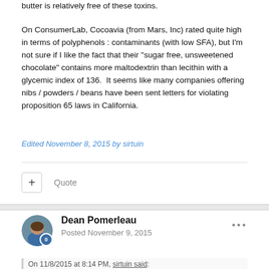butter is relatively free of these toxins.
On ConsumerLab, Cocoavia (from Mars, Inc) rated quite high in terms of polyphenols : contaminants (with low SFA), but I'm not sure if I like the fact that their "sugar free, unsweetened chocolate" contains more maltodextrin than lecithin with a glycemic index of 136.  It seems like many companies offering nibs / powders / beans have been sent letters for violating proposition 65 laws in California.
Edited November 8, 2015 by sirtuin
Quote
Dean Pomerleau
Posted November 9, 2015